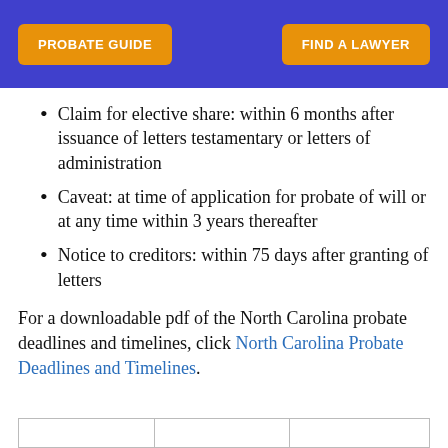PROBATE GUIDE | FIND A LAWYER
Claim for elective share: within 6 months after issuance of letters testamentary or letters of administration
Caveat: at time of application for probate of will or at any time within 3 years thereafter
Notice to creditors: within 75 days after granting of letters
For a downloadable pdf of the North Carolina probate deadlines and timelines, click North Carolina Probate Deadlines and Timelines.